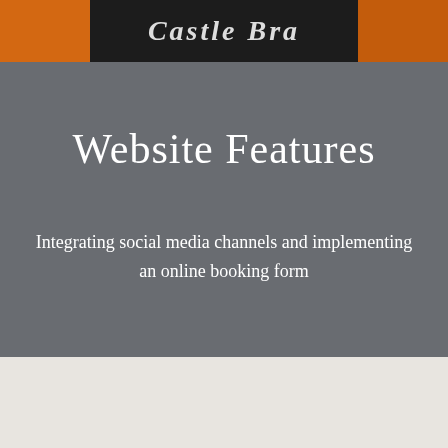[Figure (photo): Photo strip at top showing a person wearing an orange and black jacket/hoodie with cursive script text visible]
Website Features
Integrating social media channels and implementing an online booking form